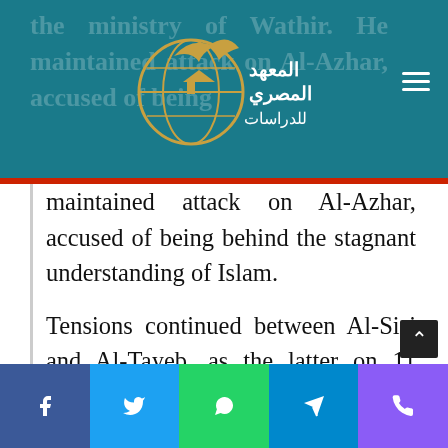Al-Masry Institute for Studies logo and navigation header
maintained attack on Al-Azhar, accused of being behind the stagnant understanding of Islam.
Tensions continued between Al-Sisi and Al-Tayeb, as the latter on 11 December 2014 refused to declare ISIS as infidel. The Grand Sheikh of Al-Azhar also rejected imposition of a unified sermon on Friday preachers, invalidation of oral divorce, and interference in
Social share buttons: Facebook, Twitter, WhatsApp, Telegram, Phone